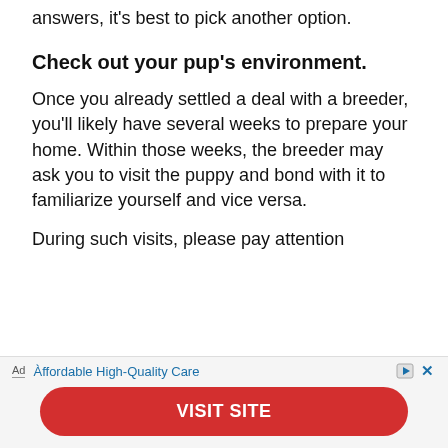answers, it's best to pick another option.
Check out your pup's environment.
Once you already settled a deal with a breeder, you'll likely have several weeks to prepare your home. Within those weeks, the breeder may ask you to visit the puppy and bond with it to familiarize yourself and vice versa.
During such visits, please pay attention to how...
[Figure (other): Advertisement banner with text 'Affordable High-Quality Care' and a red 'VISIT SITE' button]